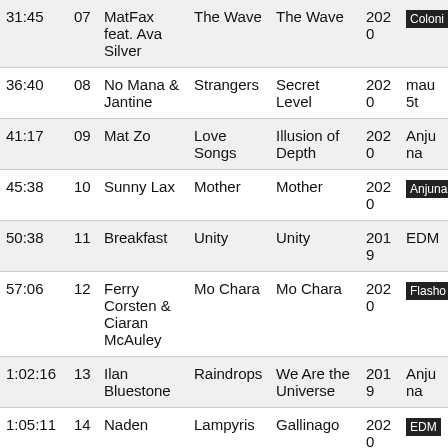| Time | # | Artist | Track | Album | Year | Label |
| --- | --- | --- | --- | --- | --- | --- |
| 31:45 | 07 | MatFax feat. Ava Silver | The Wave | The Wave | 2020 | Coloni… |
| 36:40 | 08 | No Mana & Jantine | Strangers | Secret Level | 2020 | mau5t… |
| 41:17 | 09 | Mat Zo | Love Songs | Illusion of Depth | 2020 | Anjuna… |
| 45:38 | 10 | Sunny Lax | Mother | Mother | 2020 | Anjuna… |
| 50:38 | 11 | Breakfast | Unity | Unity | 2019 | EDM |
| 57:06 | 12 | Ferry Corsten & Ciaran McAuley | Mo Chara | Mo Chara | 2020 | Flasho… |
| 1:02:16 | 13 | Ilan Bluestone | Raindrops | We Are the Universe | 2019 | Anjuna… |
| 1:05:11 | 14 | Naden | Lampyris | Gallinago | 2020 | EDM |